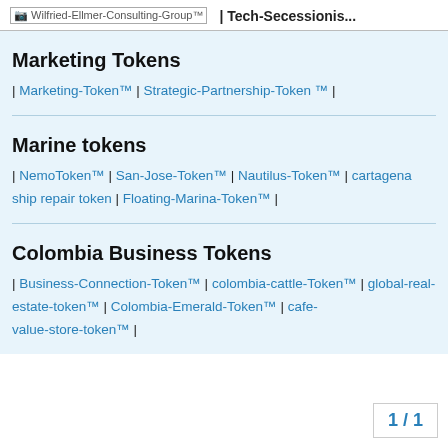[Wilfried-Ellmer-Consulting-Group™] | Tech-Secessionis...
Marketing Tokens
| Marketing-Token™ | Strategic-Partnership-Token ™ |
Marine tokens
| NemoToken™ | San-Jose-Token™ | Nautilus-Token™ | cartagena ship repair token | Floating-Marina-Token™ |
Colombia Business Tokens
| Business-Connection-Token™ | colombia-cattle-Token™ | global-real-estate-token™ | Colombia-Emerald-Token™ | cafe-value-store-token™ |
1 / 1